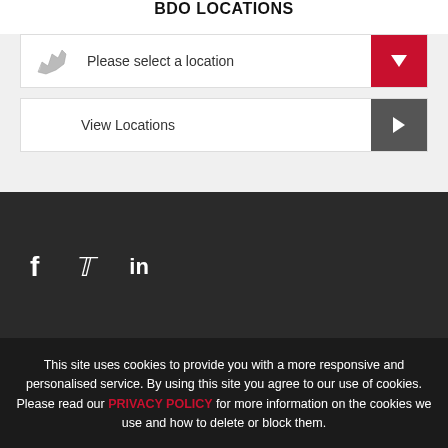BDO LOCATIONS
Please select a location
View Locations
[Figure (infographic): Social media icons: Facebook (f), Twitter (bird), LinkedIn (in) on dark background]
This site uses cookies to provide you with a more responsive and personalised service. By using this site you agree to our use of cookies. Please read our PRIVACY POLICY for more information on the cookies we use and how to delete or block them.
ACCEPT AND CLOSE
Allow only essential cookies
Legal & Privacy
BDO Portal terms & c...
Sitemap
Copyright © 2022